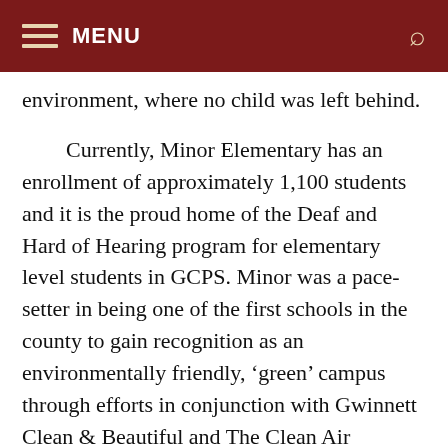MENU
environment, where no child was left behind.
Currently, Minor Elementary has an enrollment of approximately 1,100 students and it is the proud home of the Deaf and Hard of Hearing program for elementary level students in GCPS. Minor was a pace-setter in being one of the first schools in the county to gain recognition as an environmentally friendly, ‘green’ campus through efforts in conjunction with Gwinnett Clean & Beautiful and The Clean Air Campaign. Minor has two outdoor learning spaces to include a nature preserve classroom as well as a butterfly garden which since 2009, also doubles as an organic garden, thanks to a grant obtained by a